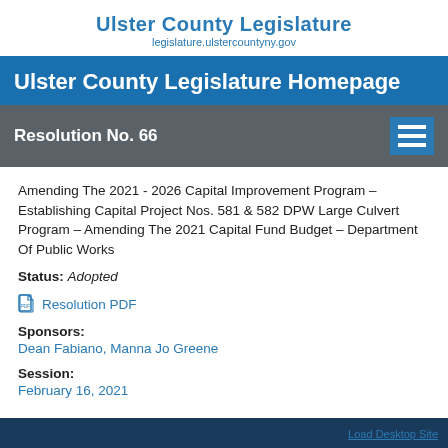Ulster County Legislature
legislature.ulstercountyny.gov
Ulster County Legislature Homepage
Resolution No. 66
Amending The 2021 - 2026 Capital Improvement Program – Establishing Capital Project Nos. 581 & 582 DPW Large Culvert Program – Amending The 2021 Capital Fund Budget – Department Of Public Works
Status: Adopted
Resolution PDF
Sponsors:
Dean Fabiano, Manna Jo Greene
Session:
February 16, 2021
Load Desktop Site